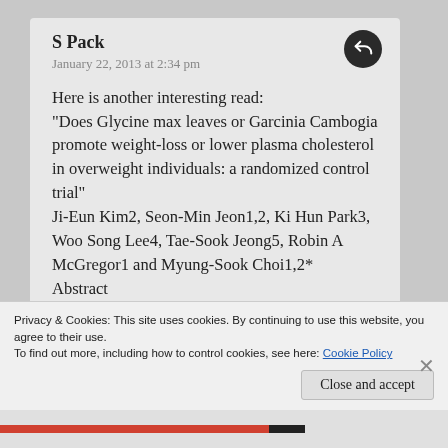S Pack
January 22, 2013 at 2:34 pm
Here is another interesting read:
“Does Glycine max leaves or Garcinia Cambogia promote weight-loss or lower plasma cholesterol in overweight individuals: a randomized control trial”
Ji-Eun Kim2, Seon-Min Jeon1,2, Ki Hun Park3, Woo Song Lee4, Tae-Sook Jeong5, Robin A McGregor1 and Myung-Sook Choi1,2*
Abstract
Background: Natural food supplements with high flavonoid content are often claimed to
Privacy & Cookies: This site uses cookies. By continuing to use this website, you agree to their use.
To find out more, including how to control cookies, see here: Cookie Policy